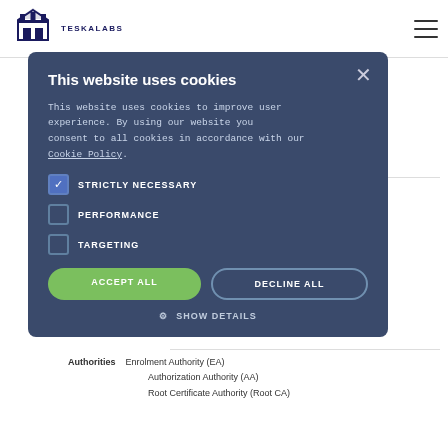[Figure (logo): TeskaLabs logo with tower/castle icon and text TESKALABS]
header and certificate formats
European C-ITS Trust Domain (ECTL, C-POC)
EU JRC C-ITS Security Policy
EU JRC C-ITS Certificate Policy
IEEE 1609.2-2016 – Security Services for Applications and Management Messages
C-ITS Security version 1.2"
IEEE P1609.2B v0.2.1
IEEE P1609.2.1 v2.0
Ciphers    ECDSA_nistP256_with_SHA256
                  ECDSA_brainpoolP256r1_with_SHA256
                  ECDSA_brainpoolP384r1_with_SHA384
                  ECIES_nistP256_with_AES128_CCM
                  ECIES_brainpoolP256r1_with_AES128_CCM
PKI specifications
Authorities    Enrolment Authority (EA)
                      Authorization Authority (AA)
                      Root Certificate Authority (Root CA)
This website uses cookies

This website uses cookies to improve user experience. By using our website you consent to all cookies in accordance with our Cookie Policy.

STRICTLY NECESSARY
PERFORMANCE
TARGETING

ACCEPT ALL   DECLINE ALL

SHOW DETAILS